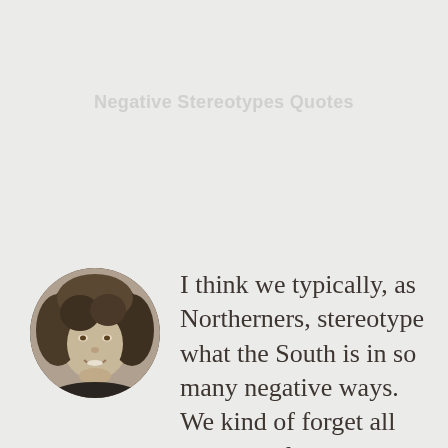Negative Stereotypes Quotes
[Figure (photo): Circular portrait photo of a woman with blonde curly hair, smiling, in black and white / sepia tone]
I think we typically, as Northerners, stereotype what the South is in so many negative ways. We kind of forget all the beautiful things that they contribute to make this country a country